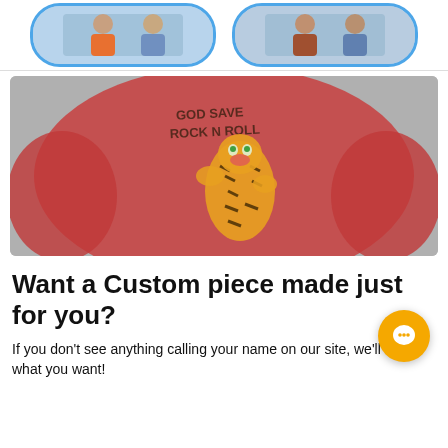[Figure (photo): Two rounded rectangular cards with blue borders showing people wearing jackets, top of page]
[Figure (photo): Red bomber jacket with tiger embroidery and 'GOD SAVE ROCK N ROLL' text on the back]
Want a Custom piece made just for you?
If you don't see anything calling your name on our site, we'll make what you want!